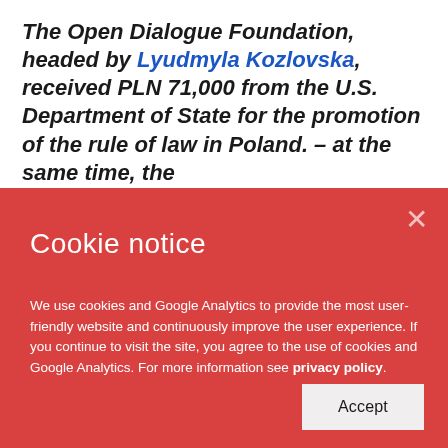The Open Dialogue Foundation, headed by Lyudmyla Kozlovska, received PLN 71,000 from the U.S. Department of State for the promotion of the rule of law in Poland. – at the same time, the
Cookie notice
We use cookies and Google Analytics to provide the most user-friendly website and continuously improve the user experience. If you continue to visit the site, you agree to the use of cookies and Google Analytics. For more information see privacy policy.